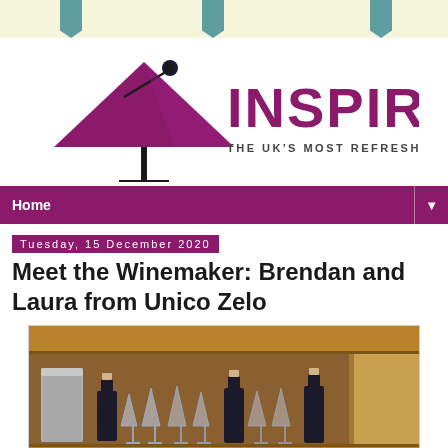[Figure (logo): INSPIRE drinks blog logo with martini glass icon and tagline 'THE UK'S MOST REFRESHING DRINKS BLOG']
Home
Tuesday, 15 December 2020
Meet the Winemaker: Brendan and Laura from Unico Zelo
[Figure (photo): Photo of wine bottles and glasses on a wooden shelf/cabinet]